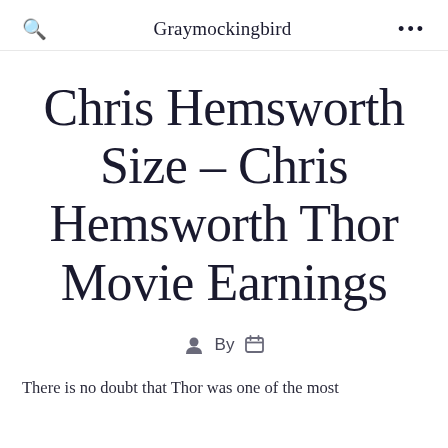Graymockingbird
Chris Hemsworth Size – Chris Hemsworth Thor Movie Earnings
By
There is no doubt that Thor was one of the most